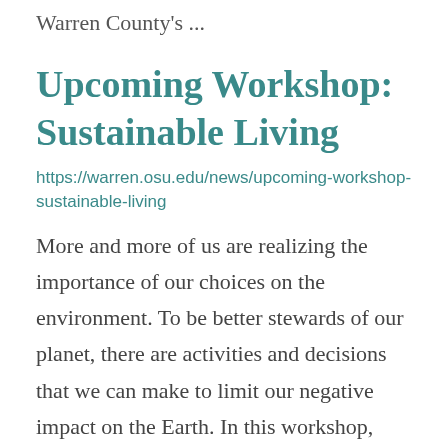Warren County's ...
Upcoming Workshop: Sustainable Living
https://warren.osu.edu/news/upcoming-workshop-sustainable-living
More and more of us are realizing the importance of our choices on the environment. To be better stewards of our planet, there are activities and decisions that we can make to limit our negative impact on the Earth. In this workshop, Warren County's ...
Dr. Kellie Claflin